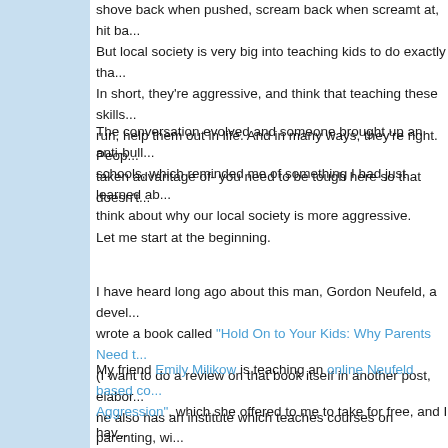shove back when pushed, scream back when screamt at, hit ba... But local society is very big into teaching kids to do exactly tha... In short, they're aggressive, and think that teaching these skills... run, help them out in life. And in many ways, they're right. Peop... taken advantage of- you need to be tough here so that doesn't...
The conversation evolved and someone brought up an anti-bull... schools, which reminded me of something I had just learned ab... think about why our local society is more aggressive.
Let me start at the beginning.
I have heard long ago about this man, Gordon Neufeld, a devel... wrote a book called "Hold On to Your Kids: Why Parents Need t... (I want to do a review on that book itself in another post, elabor... he also has an institute which teaches courses on parenting, wi...
My friend Emily Milikow is teaching an online Neufeld based co... Aggression", which she offered to me to take for free, and I hav... definitely does help me make sense of aggression, and even th... course, just based on Neufeld's book and what I've gotten from... a bit more about what exactly it is about local society that make... here.